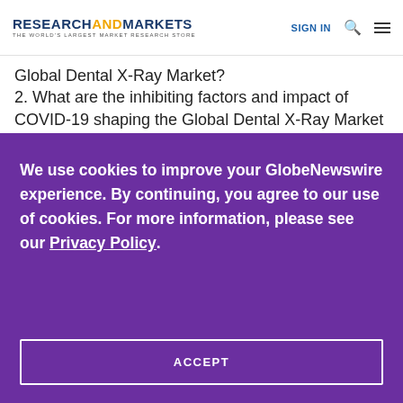RESEARCHANDMARKETS THE WORLD'S LARGEST MARKET RESEARCH STORE | SIGN IN
Global Dental X-Ray Market?
2. What are the inhibiting factors and impact of COVID-19 shaping the Global Dental X-Ray Market during the forecast period?
We use cookies to improve your GlobeNewswire experience. By continuing, you agree to our use of cookies. For more information, please see our Privacy Policy.
ACCEPT